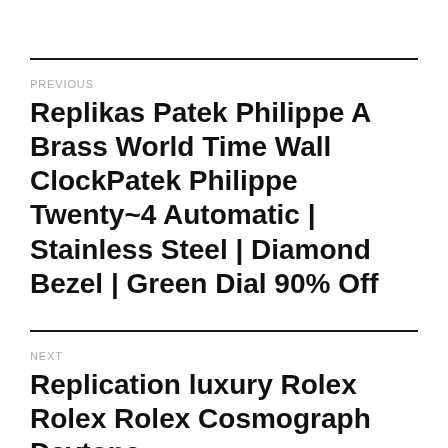PREVIOUS
Replikas Patek Philippe A Brass World Time Wall ClockPatek Philippe Twenty~4 Automatic | Stainless Steel | Diamond Bezel | Green Dial 90% Off
NEXT
Replication luxury Rolex Rolex Rolex Cosmograph Daytona